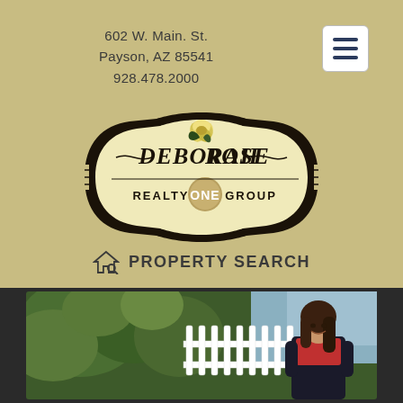602 W. Main. St.
Payson, AZ 85541
928.478.2000
[Figure (logo): Deborah Rose Realty ONE Group logo — ornate badge shape with cream/ivory background, dark border, rose illustration at top, text 'DEBORAH ROSE' in large serif font, 'REALTY ONE GROUP' below with ONE in a gold circle]
PROPERTY SEARCH
[Figure (photo): Woman with dark hair smiling, standing near a white picket fence with green foliage in background, wearing a red top and dark jacket]